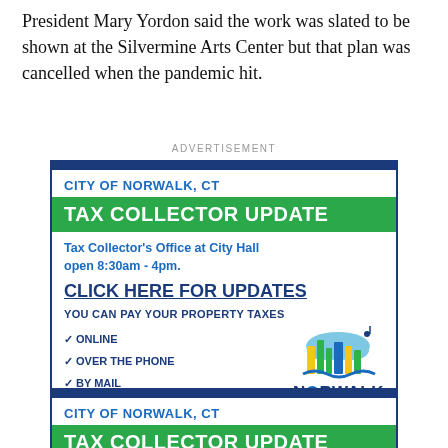President Mary Yordon said the work was slated to be shown at the Silvermine Arts Center but that plan was cancelled when the pandemic hit.
ADVERTISEMENT
[Figure (infographic): City of Norwalk CT Tax Collector Update advertisement. Shows office hours 8:30am-4pm, click here for updates link, property tax payment options (online, over the phone, by mail), and Norwalk city logo with tagline The Sound of Connecticut.]
[Figure (infographic): Second City of Norwalk CT Tax Collector Update advertisement (partial, bottom of page).]